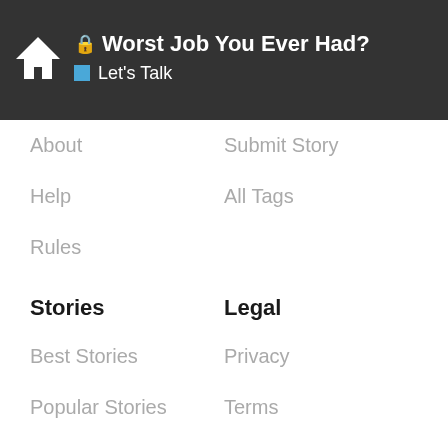🔒 Worst Job You Ever Had? | Let's Talk
About
Submit Story
Help
All Tags
Rules
Stories
Legal
Best Stories
Privacy
Popular Stories
Terms
Manage Consent